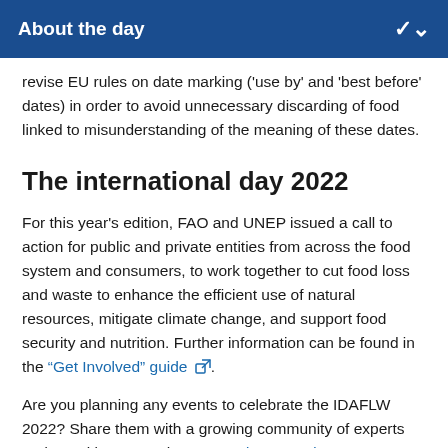About the day
revise EU rules on date marking ('use by' and 'best before' dates) in order to avoid unnecessary discarding of food linked to misunderstanding of the meaning of these dates.
The international day 2022
For this year's edition, FAO and UNEP issued a call to action for public and private entities from across the food system and consumers, to work together to cut food loss and waste to enhance the efficient use of natural resources, mitigate climate change, and support food security and nutrition. Further information can be found in the “Get Involved” guide ⧉.
Are you planning any events to celebrate the IDAFLW 2022? Share them with a growing community of experts and practitioners on the EU Food Loss and Waste